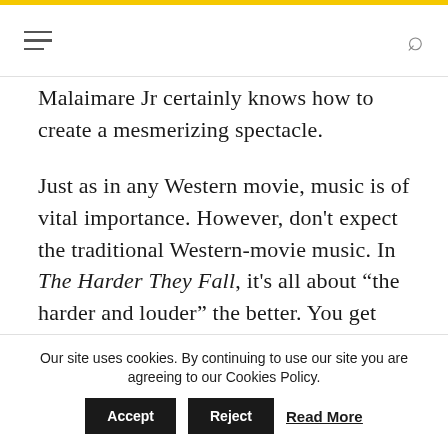[hamburger menu icon] [search icon]
Malaimare Jr certainly knows how to create a mesmerizing spectacle.
Just as in any Western movie, music is of vital importance. However, don't expect the traditional Western-movie music. In The Harder They Fall, it's all about “the harder and louder” the better. You get songs from Jay-Z (who’s a producer of this movie), Ms. Lauryn Hill, Kid Cudi and Koffee. Based on those names, you know the music absolutely
Our site uses cookies. By continuing to use our site you are agreeing to our Cookies Policy. Accept Reject Read More